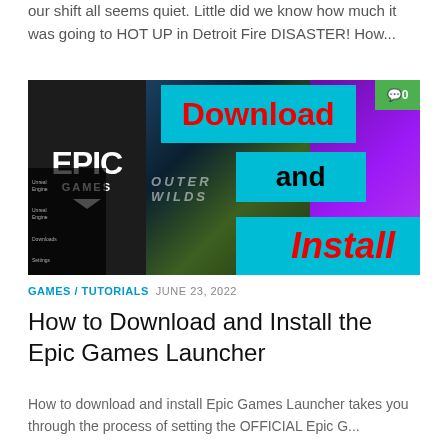our shift all seems quiet. Little did we know how much it was going to HOT UP in Detroit Fire DISASTER! How...
[Figure (screenshot): Epic Games Launcher promotional image with cyan overlay boxes reading 'Download', 'and', 'Install' in red and black text. Left side shows Epic Games logo on dark background. Center shows Outer Wilds game art. Right side shows purple background with Trover game. Green badge with comment icon and '0' in top right.]
GAMES / TUTORIALS  JUNE 23, 2022
How to Download and Install the Epic Games Launcher
How to download and install Epic Games Launcher takes you through the process of setting the OFFICIAL Epic G...